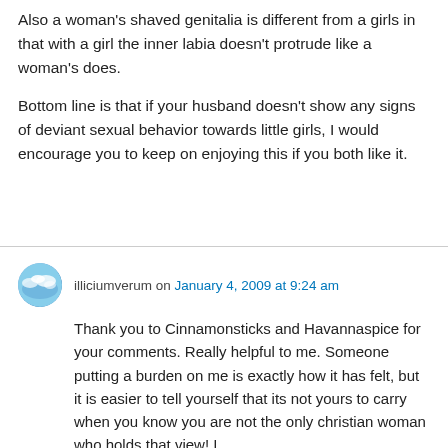Also a woman's shaved genitalia is different from a girls in that with a girl the inner labia doesn't protrude like a woman's does.
Bottom line is that if your husband doesn't show any signs of deviant sexual behavior towards little girls, I would encourage you to keep on enjoying this if you both like it.
illiciumverum on January 4, 2009 at 9:24 am
Thank you to Cinnamonsticks and Havannaspice for your comments. Really helpful to me. Someone putting a burden on me is exactly how it has felt, but it is easier to tell yourself that its not yours to carry when you know you are not the only christian woman who holds that view! I